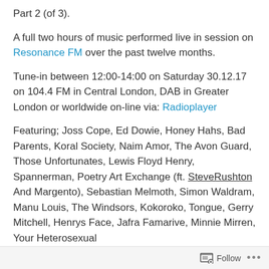Part 2 (of 3).
A full two hours of music performed live in session on Resonance FM over the past twelve months.
Tune-in between 12:00-14:00 on Saturday 30.12.17 on 104.4 FM in Central London, DAB in Greater London or worldwide on-line via: Radioplayer
Featuring; Joss Cope, Ed Dowie, Honey Hahs, Bad Parents, Koral Society, Naim Amor, The Avon Guard, Those Unfortunates, Lewis Floyd Henry, Spannerman, Poetry Art Exchange (ft. SteveRushton And Margento), Sebastian Melmoth, Simon Waldram, Manu Louis, The Windsors, Kokoroko, Tongue, Gerry Mitchell, Henrys Face, Jafra Famarive, Minnie Mirren, Your Heterosexual
Follow ...